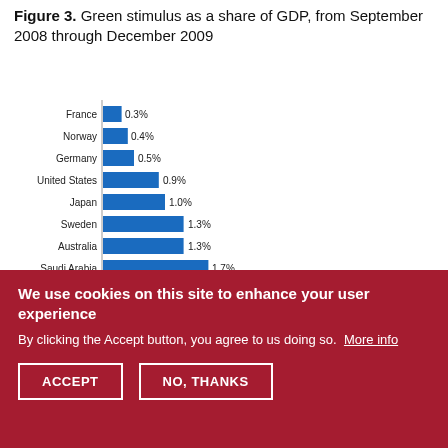Figure 3. Green stimulus as a share of GDP, from September 2008 through December 2009
[Figure (bar-chart): Green stimulus as a share of GDP, from September 2008 through December 2009]
We use cookies on this site to enhance your user experience
By clicking the Accept button, you agree to us doing so. More info
ACCEPT
NO, THANKS